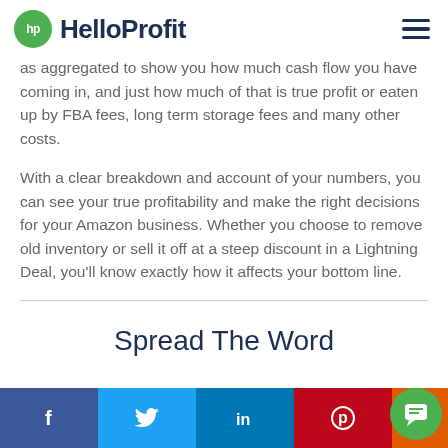HelloProfit
as aggregated to show you how much cash flow you have coming in, and just how much of that is true profit or eaten up by FBA fees, long term storage fees and many other costs.
With a clear breakdown and account of your numbers, you can see your true profitability and make the right decisions for your Amazon business. Whether you choose to remove old inventory or sell it off at a steep discount in a Lightning Deal, you'll know exactly how it affects your bottom line.
Spread The Word